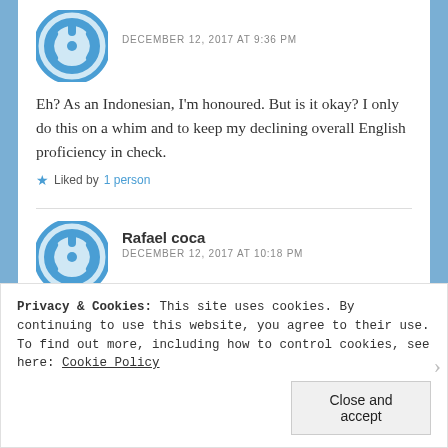DECEMBER 12, 2017 AT 9:36 PM
Eh? As an Indonesian, I'm honoured. But is it okay? I only do this on a whim and to keep my declining overall English proficiency in check.
Liked by 1 person
Rafael coca
DECEMBER 12, 2017 AT 10:18 PM
Privacy & Cookies: This site uses cookies. By continuing to use this website, you agree to their use. To find out more, including how to control cookies, see here: Cookie Policy
Close and accept